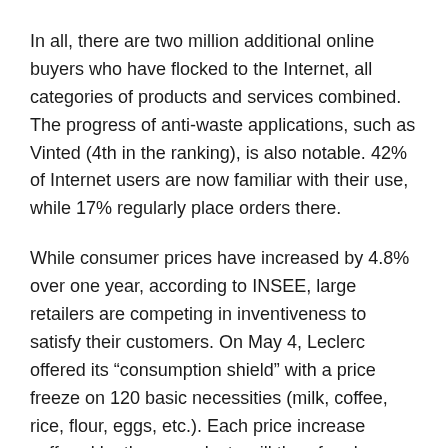In all, there are two million additional online buyers who have flocked to the Internet, all categories of products and services combined. The progress of anti-waste applications, such as Vinted (4th in the ranking), is also notable. 42% of Internet users are now familiar with their use, while 17% regularly place orders there.
While consumer prices have increased by 4.8% over one year, according to INSEE, large retailers are competing in inventiveness to satisfy their customers. On May 4, Leclerc offered its “consumption shield” with a price freeze on 120 basic necessities (milk, coffee, rice, flour, eggs, etc.). Each price increase suffered by these products will therefore be automatically credited to the customer’s loyalty card when they go to the checkout.
Intermarché has, for its part, created vouchers for 5 euros, in